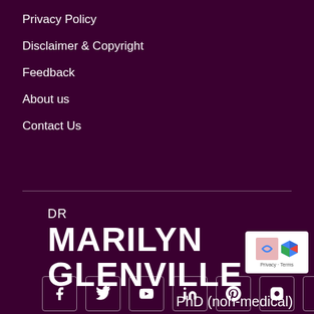Privacy Policy
Disclaimer & Copyright
Feedback
About us
Contact Us
DR MARILYN GLENVILLE PhD (non-medical)
[Figure (logo): Social media icons row: Facebook, Twitter, YouTube, LinkedIn, Pinterest, Instagram, Google+]
[Figure (other): reCAPTCHA badge with logo and Privacy - Terms text]